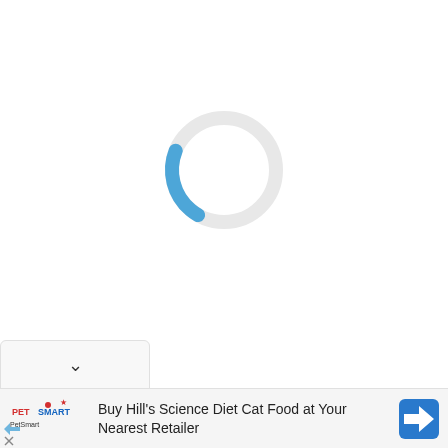[Figure (other): Loading spinner: a circular ring in light gray with a blue arc segment at the bottom, indicating a page loading state]
[Figure (other): Dropdown chevron button (down arrow) in a rounded rectangle tab at the bottom-left]
[Figure (other): PetSmart advertisement banner with PetSmart logo on the left, text 'Buy Hill's Science Diet Cat Food at Your Nearest Retailer' in the center, and a blue navigation/directions icon on the right. Small arrow and X icons in bottom-left corner.]